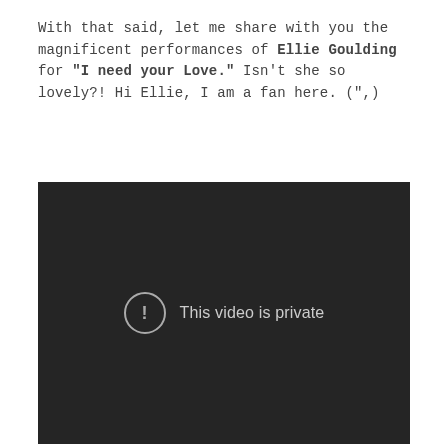With that said, let me share with you the magnificent performances of Ellie Goulding for "I need your Love." Isn't she so lovely?! Hi Ellie, I am a fan here. (",)
[Figure (screenshot): A dark video player showing the message 'This video is private' with a circular exclamation icon.]